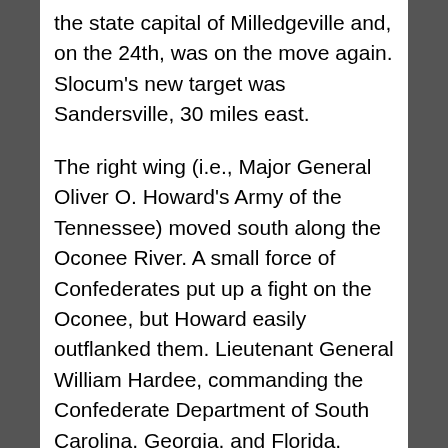the state capital of Milledgeville and, on the 24th, was on the move again. Slocum's new target was Sandersville, 30 miles east.
The right wing (i.e., Major General Oliver O. Howard's Army of the Tennessee) moved south along the Oconee River. A small force of Confederates put up a fight on the Oconee, but Howard easily outflanked them. Lieutenant General William Hardee, commanding the Confederate Department of South Carolina, Georgia, and Florida, ordered the troops back to Sebastopol, 40 miles east. The Federals crossed the Oconee and continued advancing to keep pace with Slocum's left wing to the north.
Sherman directed his cavalry, led by Brigadier